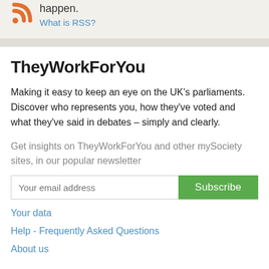happen.
What is RSS?
TheyWorkForYou
Making it easy to keep an eye on the UK’s parliaments. Discover who represents you, how they’ve voted and what they’ve said in debates – simply and clearly.
Get insights on TheyWorkForYou and other mySociety sites, in our popular newsletter
Your email address
Subscribe
Your data
Help - Frequently Asked Questions
About us